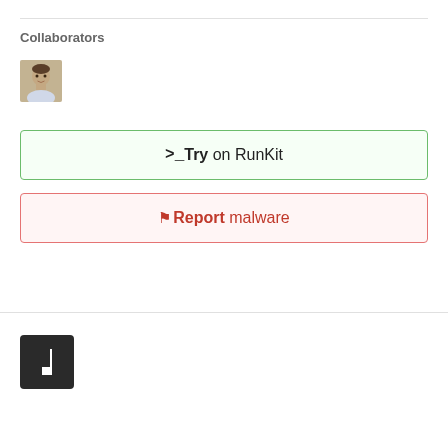Collaborators
[Figure (photo): Headshot photo of a collaborator user avatar]
>_Try on RunKit
🚩Report malware
[Figure (logo): npm logo (n in a square bracket style icon)]